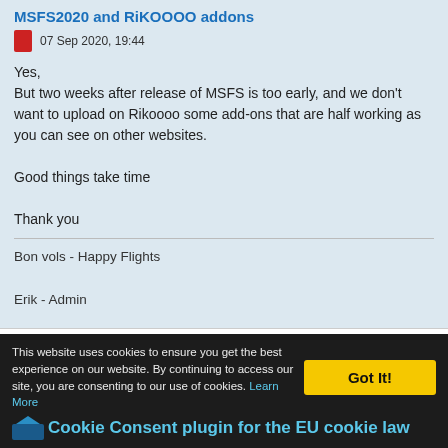MSFS2020 and RiKOOOO addons
07 Sep 2020, 19:44
Yes,
But two weeks after release of MSFS is too early, and we don't want to upload on Rikoooo some add-ons that are half working as you can see on other websites.

Good things take time

Thank you
Bon vols - Happy Flights

Erik - Admin
dkberesk12
New Member
This website uses cookies to ensure you get the best experience on our website. By continuing to access our site, you are consenting to our use of cookies. Learn More
Got It!
Cookie Consent plugin for the EU cookie law